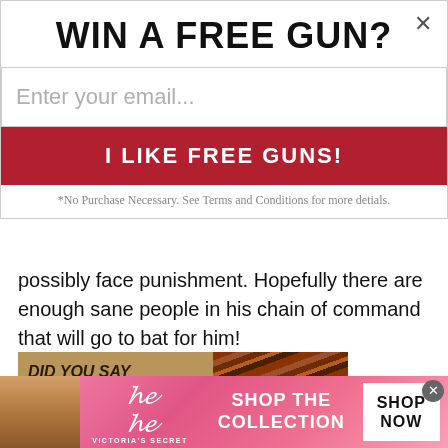WIN A FREE GUN?×
Enter your email...
I LIKE FREE GUNS!
*No Purchase Necessary. See Terms and Conditions for more detials.
possibly face punishment. Hopefully there are enough sane people in his chain of command that will go to bat for him!
[Figure (advertisement): DID YOU SAY BACON JERKY? advertisement with bacon/jerky imagery]
[Figure (advertisement): Victoria's Secret banner ad: woman model, VS logo, SHOP THE COLLECTION, SHOP NOW button]